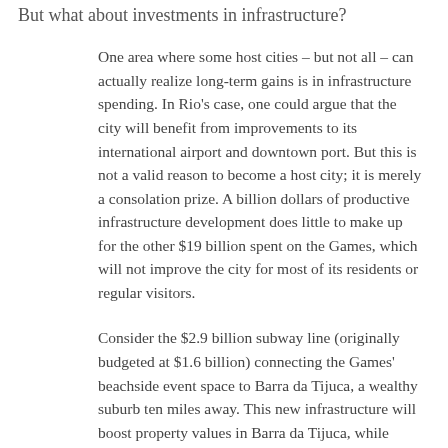But what about investments in infrastructure?
One area where some host cities – but not all – can actually realize long-term gains is in infrastructure spending. In Rio's case, one could argue that the city will benefit from improvements to its international airport and downtown port. But this is not a valid reason to become a host city; it is merely a consolation prize. A billion dollars of productive infrastructure development does little to make up for the other $19 billion spent on the Games, which will not improve the city for most of its residents or regular visitors.
Consider the $2.9 billion subway line (originally budgeted at $1.6 billion) connecting the Games' beachside event space to Barra da Tijuca, a wealthy suburb ten miles away. This new infrastructure will boost property values in Barra da Tijuca, while doing nothing to improve Rio's horrendous street traffic. The bulk of Rio's workers living north and west of downtown will